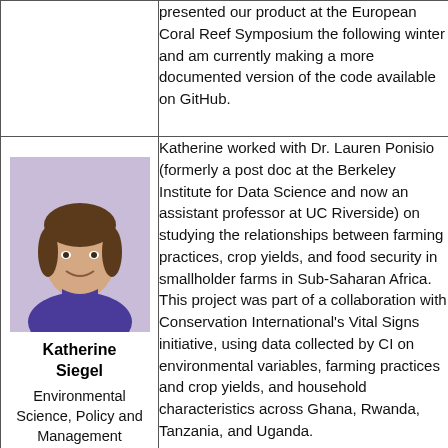presented our product at the European Coral Reef Symposium the following winter and am currently making a more documented version of the code available on GitHub.
[Figure (photo): Portrait photo of Katherine Siegel, a young woman with dark hair wearing a blue top]
Katherine Siegel
Environmental Science, Policy and Management
Katherine worked with Dr. Lauren Ponisio (formerly a post doc at the Berkeley Institute for Data Science and now an assistant professor at UC Riverside) on studying the relationships between farming practices, crop yields, and food security in smallholder farms in Sub-Saharan Africa. This project was part of a collaboration with Conservation International's Vital Signs initiative, using data collected by CI on environmental variables, farming practices and crop yields, and household characteristics across Ghana, Rwanda, Tanzania, and Uganda.